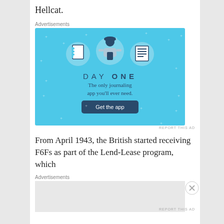Hellcat.
Advertisements
[Figure (illustration): Advertisement for Day One journaling app on a blue background. Shows three circular icons of a notebook, a person using a phone, and a list/document. Text reads 'DAY ONE - The only journaling app you'll ever need.' with a 'Get the app' button.]
REPORT THIS AD
From April 1943, the British started receiving F6Fs as part of the Lend-Lease program, which
Advertisements
REPORT THIS AD